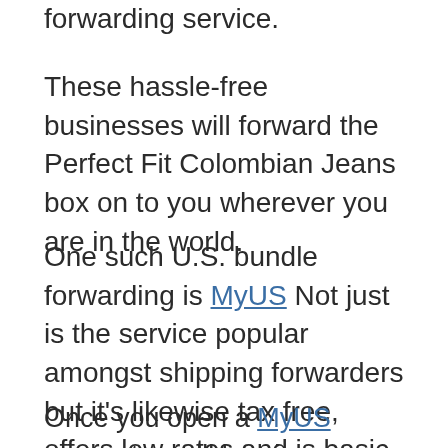forwarding service.
These hassle-free businesses will forward the Perfect Fit Colombian Jeans box on to you wherever you are in the world.
One such U.S. bundle forwarding is MyUS Not just is the service popular amongst shipping forwarders but it’s likewise tax free, offers low rates and is basic to use.
Once you open a MyUS account, you’ll be given a United States mailing address and your items can be delivered to that address.
MyUS will accept shipment of the products in your